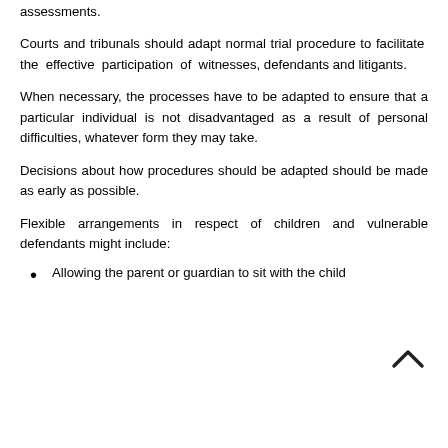assessments.
Courts and tribunals should adapt normal trial procedure to facilitate the effective participation of witnesses, defendants and litigants.
When necessary, the processes have to be adapted to ensure that a particular individual is not disadvantaged as a result of personal difficulties, whatever form they may take.
Decisions about how procedures should be adapted should be made as early as possible.
Flexible arrangements in respect of children and vulnerable defendants might include:
Allowing the parent or guardian to sit with the child